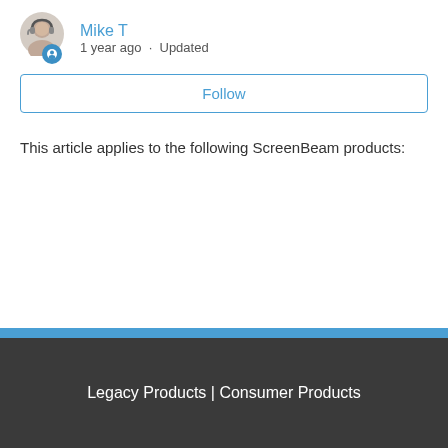[Figure (illustration): Avatar icon of a person with headset and a blue badge icon below-right]
Mike T
1 year ago · Updated
Follow
This article applies to the following ScreenBeam products:
Legacy Products | Consumer Products